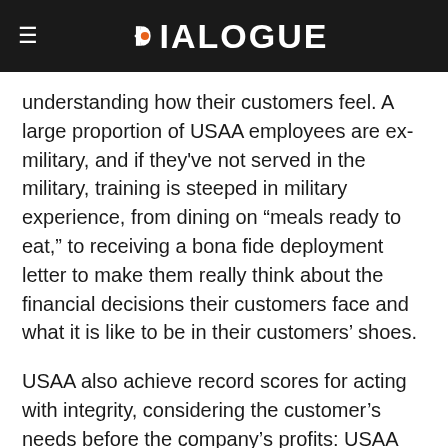DIALOGUE
understanding how their customers feel. A large proportion of USAA employees are ex-military, and if they've not served in the military, training is steeped in military experience, from dining on “meals ready to eat,” to receiving a bona fide deployment letter to make them really think about the financial decisions their customers face and what it is like to be in their customers’ shoes.
USAA also achieve record scores for acting with integrity, considering the customer’s needs before the company’s profits: USAA shared that “we practice down selling; ensuring the customer only gets exactly what they need”.
As the number 1 brand in 2015 for CX excellence, USAA are heralded as customer experience champions. Across each of the 6 pillars, USAA do something extraordinary. Their commitment to their customers is second to...